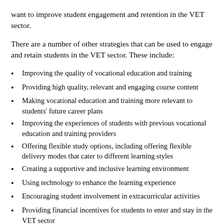want to improve student engagement and retention in the VET sector.
There are a number of other strategies that can be used to engage and retain students in the VET sector. These include:
Improving the quality of vocational education and training
Providing high quality, relevant and engaging course content
Making vocational education and training more relevant to students' future career plans
Improving the experiences of students with previous vocational education and training providers
Offering flexible study options, including offering flexible delivery modes that cater to different learning styles
Creating a supportive and inclusive learning environment
Using technology to enhance the learning experience
Encouraging student involvement in extracurricular activities
Providing financial incentives for students to enter and stay in the VET sector